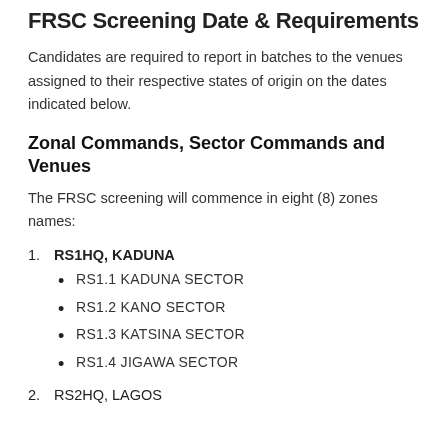FRSC Screening Date & Requirements
Candidates are required to report in batches to the venues assigned to their respective states of origin on the dates indicated below.
Zonal Commands, Sector Commands and Venues
The FRSC screening will commence in eight (8) zones names:
RS1HQ, KADUNA
RS1.1 KADUNA SECTOR
RS1.2 KANO SECTOR
RS1.3 KATSINA SECTOR
RS1.4 JIGAWA SECTOR
RS2HQ, LAGOS